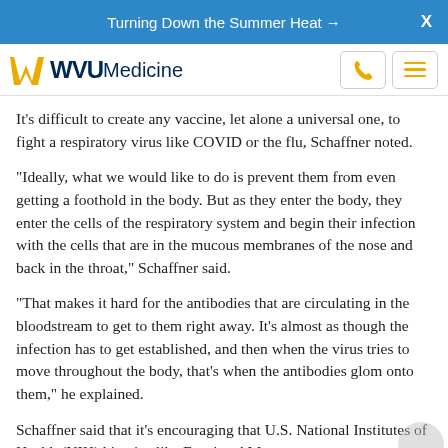Turning Down the Summer Heat →   X
[Figure (logo): WVU Medicine logo with flying W in gold and navy text, phone icon button, and hamburger menu button]
It's difficult to create any vaccine, let alone a universal one, to fight a respiratory virus like COVID or the flu, Schaffner noted.
"Ideally, what we would like to do is prevent them from even getting a foothold in the body. But as they enter the body, they enter the cells of the respiratory system and begin their infection with the cells that are in the mucous membranes of the nose and back in the throat," Schaffner said.
"That makes it hard for the antibodies that are circulating in the bloodstream to get to them right away. It's almost as though the infection has to get established, and then when the virus tries to move throughout the body, that's when the antibodies glom onto them," he explained.
Schaffner said that it's encouraging that U.S. National Institutes of Health (NIH) bigwigs like Fauci and Morens wrote